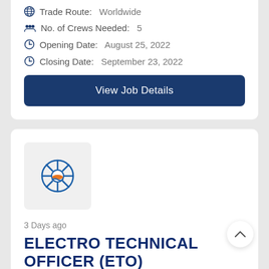Trade Route: Worldwide
No. of Crews Needed: 5
Opening Date: August 25, 2022
Closing Date: September 23, 2022
View Job Details
[Figure (logo): Ship wheel logo with orange ship and blue waves]
3 Days ago
ELECTRO TECHNICAL OFFICER (ETO)